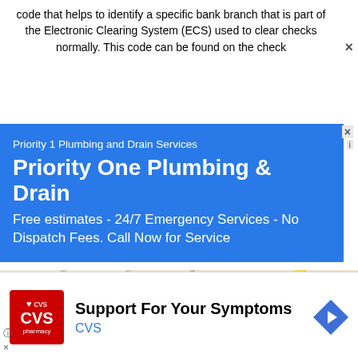code that helps to identify a specific bank branch that is part of the Electronic Clearing System (ECS) used to clear checks normally. This code can be found on the check
[Figure (infographic): Blue advertisement banner for Priority 1 Plumbing and Drain Services. Shows small title 'Priority 1 Plumbing and Drain Services', large bold title 'Priority One Plumbing & Drain', and description 'Free estimates - 24/7 Emergency Services - No Dispatch Fees. Call Now for Service']
[Figure (map): Google Maps screenshot showing a street map with roads, a red location pin marker in the center, and a yellow road/highway on the right side. A white chevron/collapse button is in the lower left.]
[Figure (infographic): CVS Pharmacy advertisement showing red CVS logo on left, text 'Support For Your Symptoms' and 'CVS' in blue, and a blue navigation arrow icon on the right.]